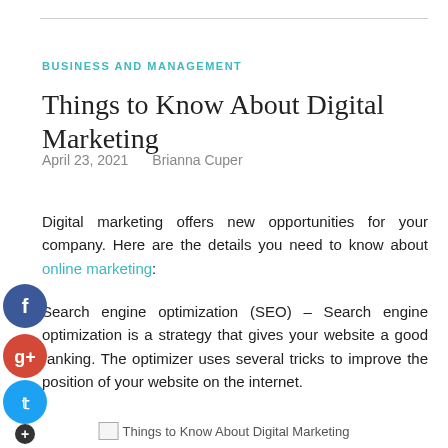BUSINESS AND MANAGEMENT
Things to Know About Digital Marketing
April 23, 2021   Brianna Cuper
Digital marketing offers new opportunities for your company. Here are the details you need to know about online marketing:
Search engine optimization (SEO) – Search engine optimization is a strategy that gives your website a good ranking. The optimizer uses several tricks to improve the position of your website on the internet.
[Figure (photo): Broken image placeholder labeled 'Things to Know About Digital Marketing']